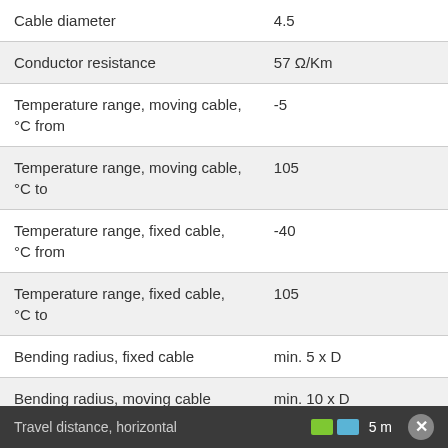| Property | Value |
| --- | --- |
| Cable diameter | 4.5 |
| Conductor resistance | 57 Ω/Km |
| Temperature range, moving cable, °C from | -5 |
| Temperature range, moving cable, °C to | 105 |
| Temperature range, fixed cable, °C from | -40 |
| Temperature range, fixed cable, °C to | 105 |
| Bending radius, fixed cable | min. 5 x D |
| Bending radius, moving cable | min. 10 x D |
| Bending cycles | 2 Mio. |
| Permitted acceleration | 5 m/s² |
Travel distance, horizontal   5 m